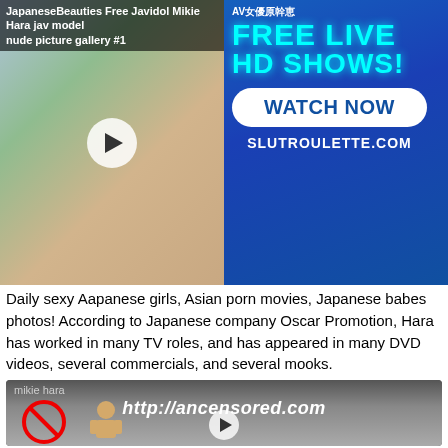[Figure (screenshot): Two-panel banner: left shows a photo thumbnail with play button overlay and header text 'JapaneseBeauties Free Javidol Mikie Hara jav model nude picture gallery #1'; right panel shows blue advertisement for 'FREE LIVE HD SHOWS! WATCH NOW SLUTROULETTE.COM']
Daily sexy Aapanese girls, Asian porn movies, Japanese babes photos! According to Japanese company Oscar Promotion, Hara has worked in many TV roles, and has appeared in many DVD videos, several commercials, and several mooks.
[Figure (screenshot): Thumbnail with 'mikie hara' label and URL 'http://ancensored.com' with cartoon illustration and play button]